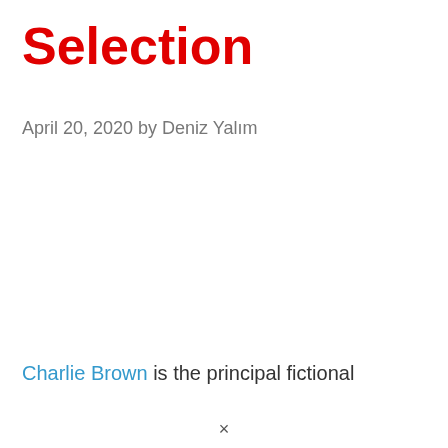Selection
April 20, 2020 by Deniz Yalım
Charlie Brown is the principal fictional